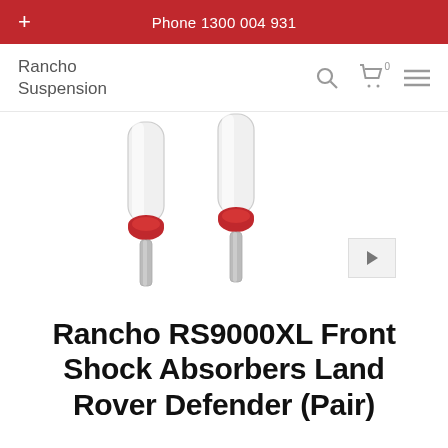Phone 1300 004 931
Rancho Suspension
[Figure (photo): Two Rancho RS9000XL shock absorbers with red adjustment knobs shown bottom-up on a white background]
Rancho RS9000XL Front Shock Absorbers Land Rover Defender (Pair)